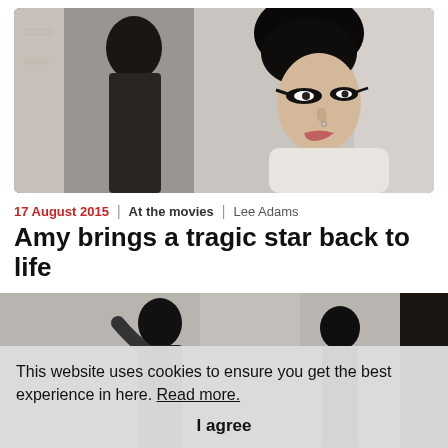[Figure (photo): Black and white photograph of Amy Winehouse, showing her distinctive beehive hairstyle and dramatic eye makeup, leaning against a wall, with a reflection or second image visible on the left side.]
17 August 2015 | At the movies | Lee Adams
Amy brings a tragic star back to life
Amy is the best film I've almost walked out on at the cinema. Not because it is a bad movie...
This website uses cookies to ensure you get the best experience in here. Read more.
I agree
[Figure (photo): Black and white photograph showing Amy Winehouse performing or posing, with another figure visible on the right side.]